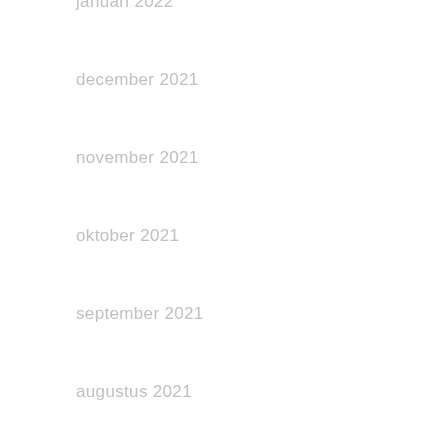januari 2022
december 2021
november 2021
oktober 2021
september 2021
augustus 2021
juli 2021
juni 2021
mei 2021
april 2021
maart 2021
februari 2021